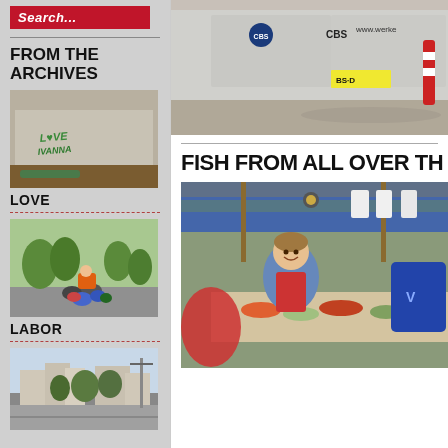Search...
FROM THE ARCHIVES
[Figure (photo): Concrete wall with green graffiti text]
LOVE
[Figure (photo): Person on a loaded motorcycle on a street]
LABOR
[Figure (photo): Street scene with buildings and trees]
[Figure (photo): Back of a van with CBS logo and license plate BS-D, www.werke... visible]
FISH FROM ALL OVER TH
[Figure (photo): Fish market stall with vendor in blue and red apron, market tent with blue and yellow awning]